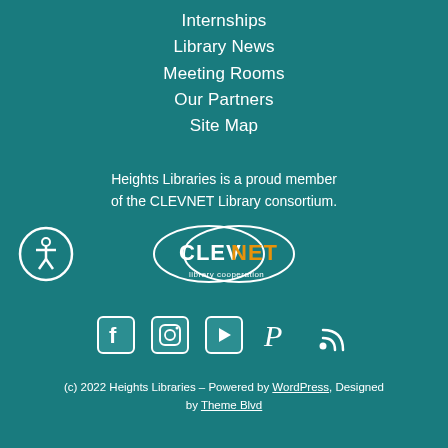Internships
Library News
Meeting Rooms
Our Partners
Site Map
Heights Libraries is a proud member of the CLEVNET Library consortium.
[Figure (logo): Accessibility icon: circle with stick figure person]
[Figure (logo): CLEVNET library cooperation logo with overlapping ovals, CLEV in white, NET in orange, 'library cooperation' text below]
[Figure (infographic): Social media icons row: Facebook, Instagram, YouTube, Pinterest, RSS]
(c) 2022 Heights Libraries – Powered by WordPress, Designed by Theme Blvd